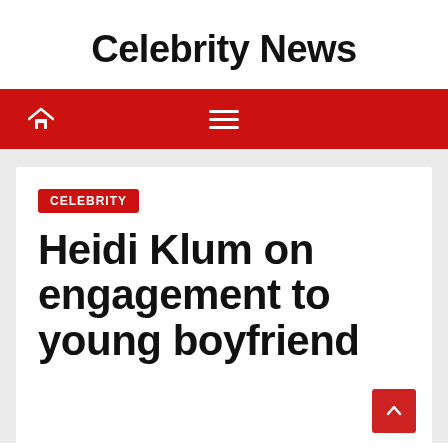Celebrity News
CELEBRITY
Heidi Klum on engagement to young boyfriend